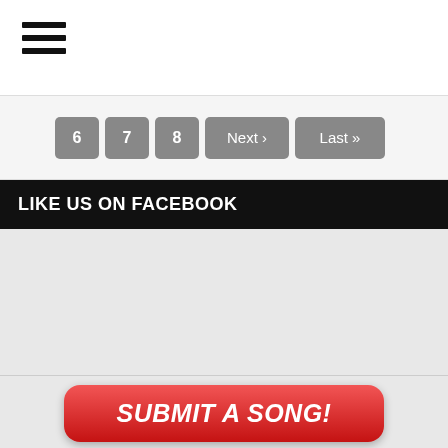[Figure (other): Hamburger menu icon (three horizontal lines)]
6  7  8  Next ›  Last »
LIKE US ON FACEBOOK
[Figure (other): Facebook like widget area (gray empty box)]
SUBMIT A SONG!
BECOME SPONSORED!